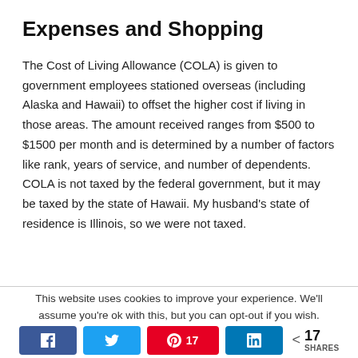Expenses and Shopping
The Cost of Living Allowance (COLA) is given to government employees stationed overseas (including Alaska and Hawaii) to offset the higher cost if living in those areas. The amount received ranges from $500 to $1500 per month and is determined by a number of factors like rank, years of service, and number of dependents. COLA is not taxed by the federal government, but it may be taxed by the state of Hawaii. My husband’s state of residence is Illinois, so we were not taxed.
This website uses cookies to improve your experience. We'll assume you're ok with this, but you can opt-out if you wish.
[Figure (infographic): Social share buttons: Facebook, Twitter, Pinterest (17), LinkedIn, and a share count showing 17 SHARES]